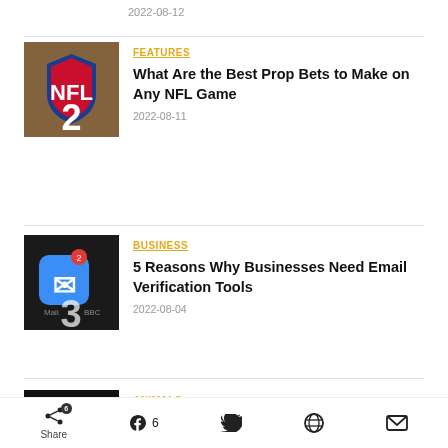2022-08-12
[Figure (photo): NFL shield logo with number 2 overlay on woven background]
FEATURES
What Are the Best Prop Bets to Make on Any NFL Game
2022-08-11
[Figure (photo): Phone screen showing Mail app with number 3 and notification badge]
BUSINESS
5 Reasons Why Businesses Need Email Verification Tools
2022-08-04
[Figure (photo): Dark image with number 4, partially visible]
ANIMALS
Do Snakes Have Ears? Can They Hear...
Share  6  [Facebook] 6  [Twitter]  [Reddit]  [Email]